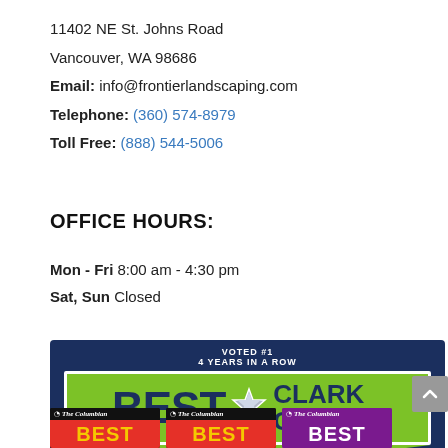11402 NE St. Johns Road
Vancouver, WA 98686
Email: info@frontierlandscaping.com
Telephone: (360) 574-8979
Toll Free: (888) 544-5006
OFFICE HOURS:
Mon - Fri 8:00 am - 4:30 pm
Sat, Sun Closed
[Figure (logo): Best of Clark County badge — voted #1, 4 years in a row, on a dark navy background with a green banner and white star]
[Figure (logo): Three The Columbian Best of Clark County badge thumbnails at the bottom of the page]